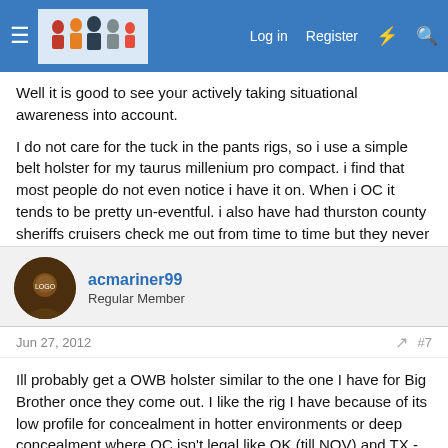Log in  Register
Well it is good to see your actively taking situational awareness into account.
I do not care for the tuck in the pants rigs, so i use a simple belt holster for my taurus millenium pro compact. i find that most people do not even notice i have it on. When i OC it tends to be pretty un-eventful. i also have had thurston county sheriffs cruisers check me out from time to time but they never stop and bother me.
acmariner99
Regular Member
Jun 27, 2012
#7
Ill probably get a OWB holster similar to the one I have for Big Brother once they come out. I like the rig I have because of its low profile for concealment in hotter environments or deep concealment where OC isn't legal like OK (till NOV) and TX -